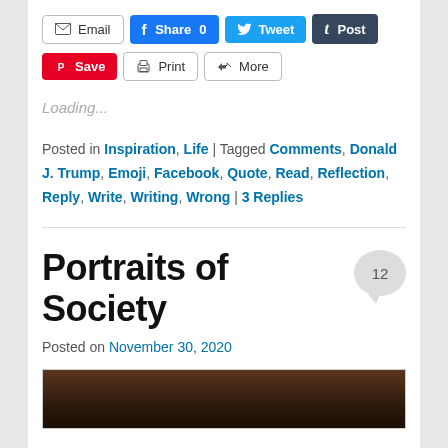[Figure (screenshot): Social sharing buttons row 1: Email, Share 0 (Facebook), Tweet (Twitter), Post (Tumblr)]
[Figure (screenshot): Social sharing buttons row 2: Save (Pinterest), Print, More]
Loading...
Posted in Inspiration, Life | Tagged Comments, Donald J. Trump, Emoji, Facebook, Quote, Read, Reflection, Reply, Write, Writing, Wrong | 3 Replies
Portraits of Society
Posted on November 30, 2020
[Figure (photo): Partial photo at bottom of page, dark brown background with a person visible]